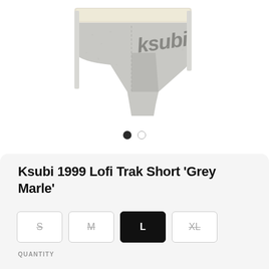[Figure (photo): Grey marl Ksubi boxer/trak shorts folded flat on white background, showing 'ksubi' logo text on the waistband area]
Ksubi 1999 Lofi Trak Short 'Grey Marle'
Size options: S (unavailable), M (unavailable), L (selected), XL (unavailable)
QUANTITY